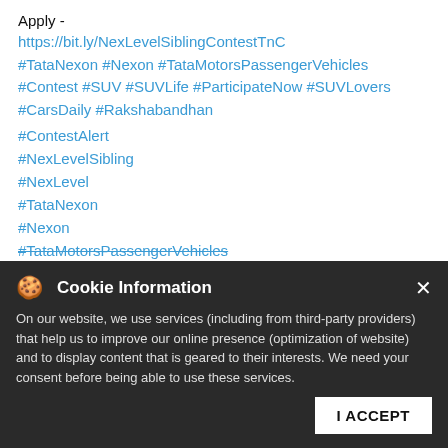Apply -
https://bit.ly/NexLevelSiblingContestTnC
#TataNexon #Nexon #TataMotorsPassengerVehicles #Contest #SUV #SUVLife #ParticipateNow #SUVLovers #CarsDaily #Rakshabandhan
#ContestAlert
#NexLevelSibling
#NexLevel
#TataNexon
#Nexon
#TataMotorsPassengerVehicles
#SUV
#ParticipateNow
#SUVLovers
#CarsDaily
#Rakshabandhan
Cookie Information
On our website, we use services (including from third-party providers) that help us to improve our online presence (optimization of website) and to display content that is geared to their interests. We need your consent before being able to use these services.
I ACCEPT